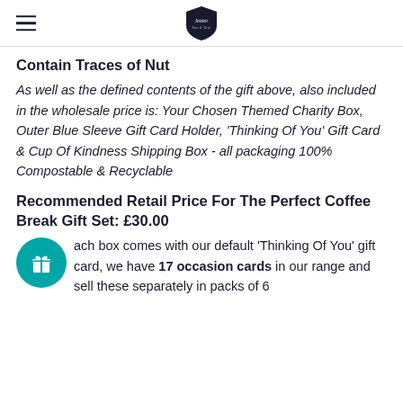Jenier
Contain Traces of Nut
As well as the defined contents of the gift above, also included in the wholesale price is: Your Chosen Themed Charity Box, Outer Blue Sleeve Gift Card Holder, 'Thinking Of You' Gift Card & Cup Of Kindness Shipping Box - all packaging 100% Compostable & Recyclable
Recommended Retail Price For The Perfect Coffee Break Gift Set: £30.00
Each box comes with our default 'Thinking Of You' gift card, we have 17 occasion cards in our range and sell these separately in packs of 6